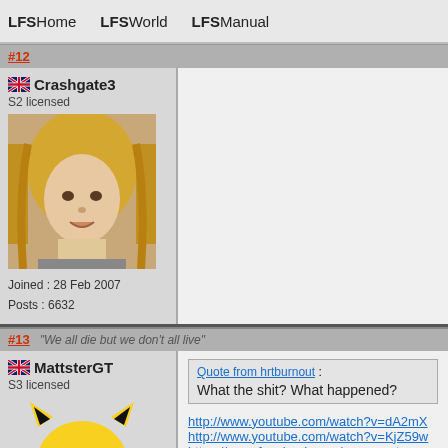LFSHome  LFSWorld  LFSManual
#12
Crashgate3
S2 licensed
Joined : 28 Feb 2007
Posts : 6632
[Figure (photo): User avatar photo of a person with blonde hair]
#13  "We all die but we don't all live"
MattsterGT
S3 licensed
Joined : 20 Aug 2008
Posts : 378
[Figure (illustration): Pikachu cartoon avatar illustration]
Quote from hrtburnout : What the shit? What happened?
http://www.youtube.com/watch?v=dA2mX
http://www.youtube.com/watch?v=KjZ59w
https://www.facebook.com/pages ... teve-
all explained in the facebook page's info.